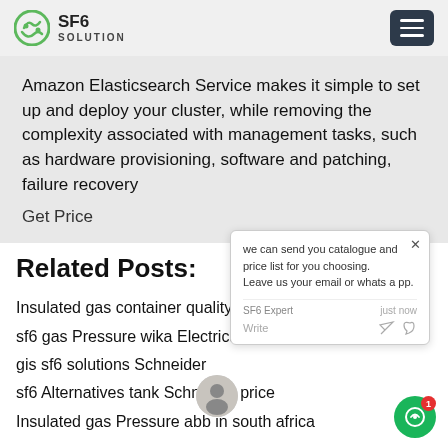SF6 SOLUTION
Amazon Elasticsearch Service makes it simple to set up and deploy your cluster, while removing the complexity associated with management tasks, such as hardware provisioning, software and patching, failure recovery
Get Price
[Figure (other): Chat popup overlay with message: we can send you catalogue and price list for you choosing. Leave us your email or whatsapp. SF6 Expert just now. Write icons.]
Related Posts:
Insulated gas container quality check price
sf6 gas Pressure wika Electrical industry
gis sf6 solutions Schneider
sf6 Alternatives tank Schneider price
Insulated gas Pressure abb in south africa